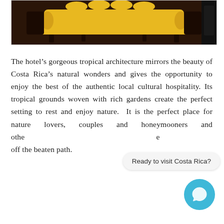[Figure (photo): Photo of an ornate dark wooden sofa with yellow cushions and bolster pillows, with carved armrests, appearing to be in a hotel lobby setting.]
The hotel's gorgeous tropical architecture mirrors the beauty of Costa Rica's natural wonders and gives the opportunity to enjoy the best of the authentic local cultural hospitality. Its tropical grounds woven with rich gardens create the perfect setting to rest and enjoy nature. It is the perfect place for nature lovers, couples and honeymooners and othe  e off the beaten path.